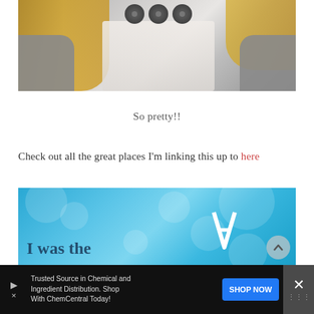[Figure (photo): Photo of a person wearing a lace top, grey cardigan, and a dark floral necklace/headband. Blonde hair visible. Torso/neck area shown.]
So pretty!!
Check out all the great places I'm linking this up to here
[Figure (photo): A blue bokeh background image with text reading 'I was the' and partial additional text, appearing to be a blog party badge.]
Trusted Source in Chemical and Ingredient Distribution. Shop With ChemCentral Today!
SHOP NOW